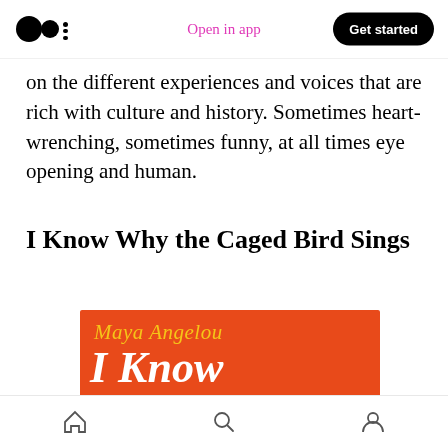Open in app | Get started
on the different experiences and voices that are rich with culture and history. Sometimes heart-wrenching, sometimes funny, at all times eye opening and human.
I Know Why the Caged Bird Sings
[Figure (illustration): Book cover of 'I Know Why the Caged Bird Sings' by Maya Angelou. Orange background with yellow italic author name 'Maya Angelou' at top, and large white italic text 'I Know Why the' visible, with partially cut-off next line.]
Home | Search | Profile navigation icons